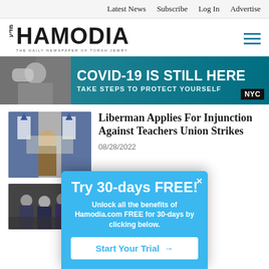Latest News  Subscribe  Log In  Advertise
[Figure (logo): Hamodia newspaper logo — Hebrew text, large bold HAMODIA, tagline THE DAILY NEWSPAPER OF TORAH JEWRY, hamburger menu icon]
[Figure (infographic): NYC COVID-19 public health banner ad: person in mask on phone, text COVID-19 IS STILL HERE / TAKE STEPS TO PROTECT YOURSELF, NYC logo]
[Figure (photo): News photo: man in suit standing near Israeli flags in a conference room with Hebrew text visible]
Liberman Applies For Injunction Against Teachers Union Strikes
08/28/2022
[Figure (photo): News photo: people in uniform at an event, partial view]
Try 30-days FREE!
Unlock all the benefits of Hamodia.com FREE for 30-days by clicking below.
Start Your Trial →